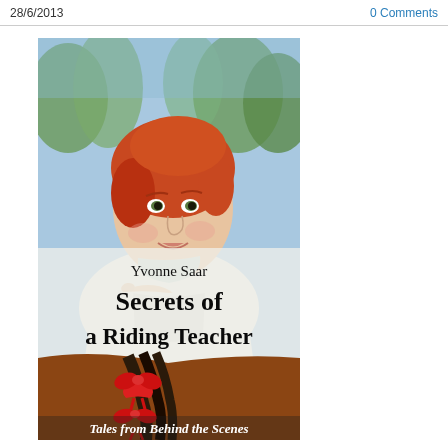28/6/2013
0 Comments
[Figure (photo): Book cover of 'Secrets of a Riding Teacher' by Yvonne Saar. Shows a red-haired girl in a white jacket leaning on a horse with red ribbons braided into its mane. Subtitle: Tales from Behind the Scenes.]